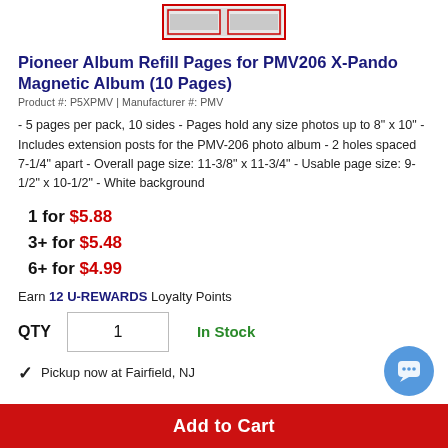[Figure (photo): Product image thumbnail at top of page showing Pioneer album refill pages]
Pioneer Album Refill Pages for PMV206 X-Pando Magnetic Album (10 Pages)
Product #: P5XPMV | Manufacturer #: PMV
- 5 pages per pack, 10 sides - Pages hold any size photos up to 8" x 10" - Includes extension posts for the PMV-206 photo album - 2 holes spaced 7-1/4" apart - Overall page size: 11-3/8" x 11-3/4" - Usable page size: 9-1/2" x 10-1/2" - White background
1 for $5.88
3+ for $5.48
6+ for $4.99
Earn 12 U-REWARDS Loyalty Points
QTY  1   In Stock
Pickup now at Fairfield, NJ
Add to Cart